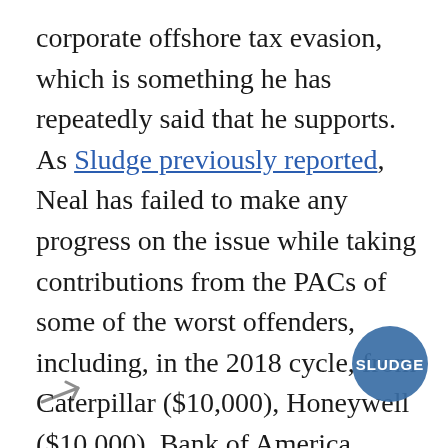corporate offshore tax evasion, which is something he has repeatedly said that he supports. As Sludge previously reported, Neal has failed to make any progress on the issue while taking contributions from the PACs of some of the worst offenders, including, in the 2018 cycle, from Caterpillar ($10,000), Honeywell ($10,000), Bank of America ($10,000), and General Electric ($9,000). Neal's top donor industries are insurance, pharmaceuticals, and health professionals, all industries that would have a lot at stake if the Ways and Means Committee were to take up single-payer